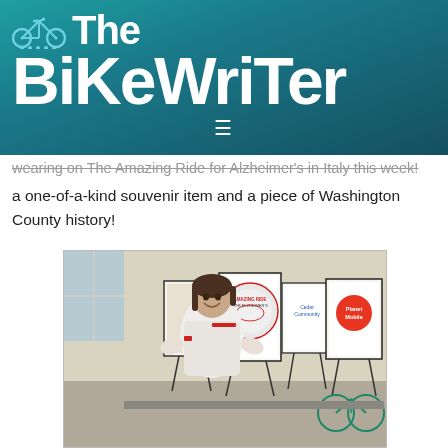The BiKeWriTer
wearing on The Amazing Ride for Alzheimer's in Italy this week! This is a one-of-a-kind souvenir item and a piece of Washington County history!
[Figure (photo): A woman wearing a cycling jersey stands smiling in front of several display boards/signs on easels. The signs include 'Amazing Ride for Alzheimer's', 'Cedar Community', 'Planet Mobile', and other sponsor logos. A bicycle is visible in the background.]